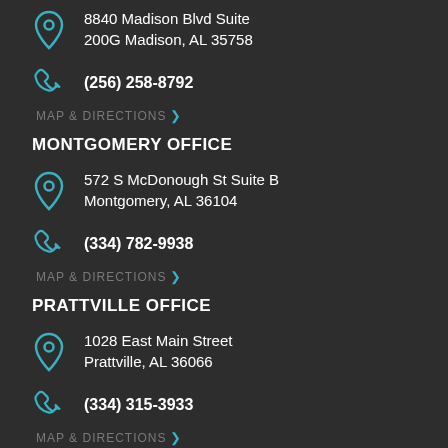8840 Madison Blvd Suite 200G Madison, AL 35758
(256) 258-8792
MAP & DIRECTIONS >
MONTGOMERY OFFICE
572 S McDonough St Suite B Montgomery, AL 36104
(334) 782-9938
MAP & DIRECTIONS >
PRATTVILLE OFFICE
1028 East Main Street Prattville, AL 36066
(334) 315-3933
MAP & DIRECTIONS >